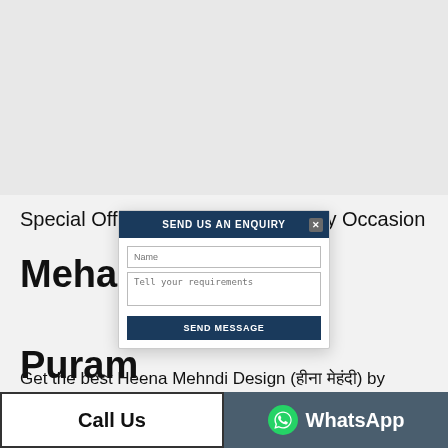[Figure (screenshot): Grey banner area at top of page, partially obscured by modal dialog]
Special Offers For Marriage & Party Occasion
Mehandi Design in R K Puram
[Figure (screenshot): Modal dialog: SEND US AN ENQUIRY with Name input, Tell your requirements textarea, and SEND MESSAGE button with X close button]
Get the best Heena Mehndi Design (हीना मेहंदी) by Mehndi Artists in R K Puram for various occasions. Avail our best Heena tattoo designing service for complete
Call Us
WhatsApp